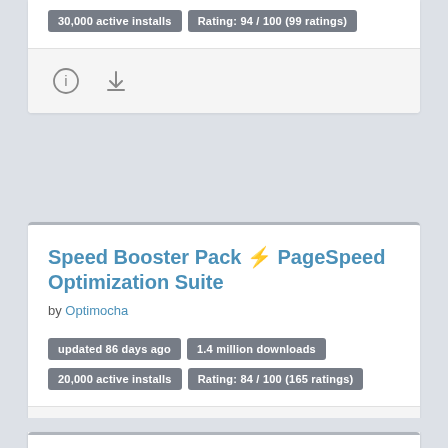30,000 active installs | Rating: 94 / 100 (99 ratings)
[Figure (other): Info and download icon buttons]
Speed Booster Pack ⚡ PageSpeed Optimization Suite
by Optimocha
updated 86 days ago | 1.4 million downloads
20,000 active installs | Rating: 84 / 100 (165 ratings)
[Figure (other): Info and download icon buttons]
Clearfy Cache – WordPress optimization plugin, Minify HTML, CSS &amp; JS, Defer
by Spacelion Media